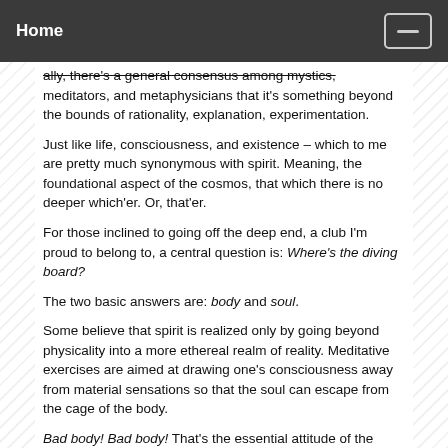Home
ally, there's a general consensus among mystics, meditators, and metaphysicians that it's something beyond the bounds of rationality, explanation, experimentation.
Just like life, consciousness, and existence – which to me are pretty much synonymous with spirit. Meaning, the foundational aspect of the cosmos, that which there is no deeper which'er. Or, that'er.
For those inclined to going off the deep end, a club I'm proud to belong to, a central question is: Where's the diving board?
The two basic answers are: body and soul.
Some believe that spirit is realized only by going beyond physicality into a more ethereal realm of reality. Meditative exercises are aimed at drawing one's consciousness away from material sensations so that the soul can escape from the cage of the body.
Bad body! Bad body! That's the essential attitude of the